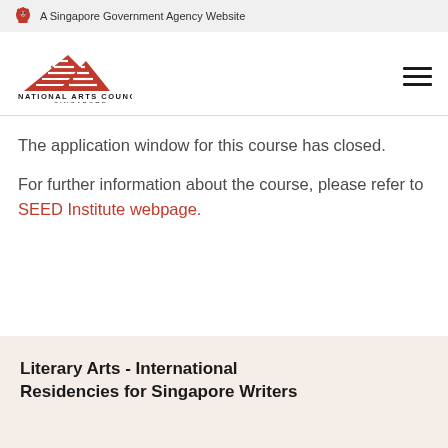A Singapore Government Agency Website
[Figure (logo): National Arts Council Singapore logo with red mountain/wave graphic and text]
The application window for this course has closed.
For further information about the course, please refer to SEED Institute webpage.
Literary Arts - International Residencies for Singapore Writers